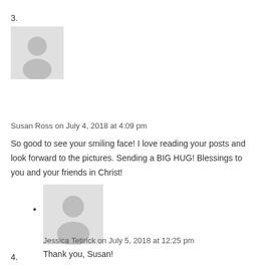3.
[Figure (illustration): Default avatar placeholder image for Susan Ross - grey silhouette of a person]
Susan Ross on July 4, 2018 at 4:09 pm
So good to see your smiling face! I love reading your posts and look forward to the pictures. Sending a BIG HUG! Blessings to you and your friends in Christ!
[Figure (illustration): Default avatar placeholder image for Jessica Tetirick - grey silhouette of a person]
Jessica Tetirick on July 5, 2018 at 12:25 pm
Thank you, Susan!
4.